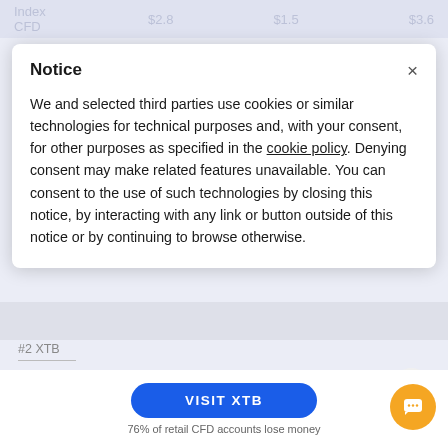Index CFD   $2.8   $1.5   $3.6
Notice
We and selected third parties use cookies or similar technologies for technical purposes and, with your consent, for other purposes as specified in the cookie policy. Denying consent may make related features unavailable. You can consent to the use of such technologies by closing this notice, by interacting with any link or button outside of this notice or by continuing to browse otherwise.
76% of retail CFD accounts lose money
#2 XTB
Mobile trading platform
VISIT XTB
76% of retail CFD accounts lose money